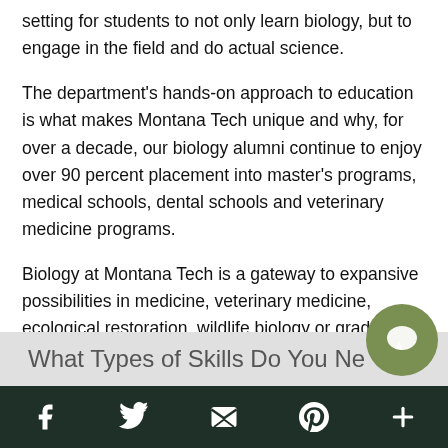setting for students to not only learn biology, but to engage in the field and do actual science.
The department's hands-on approach to education is what makes Montana Tech unique and why, for over a decade, our biology alumni continue to enjoy over 90 percent placement into master's programs, medical schools, dental schools and veterinary medicine programs.
Biology at Montana Tech is a gateway to expansive possibilities in medicine, veterinary medicine, ecological restoration, wildlife biology or graduate school.
What Types of Skills Do You Ne
[Figure (other): Dark green bottom navigation bar with social media icons: Facebook, Twitter, email/envelope, Pinterest, and plus sign]